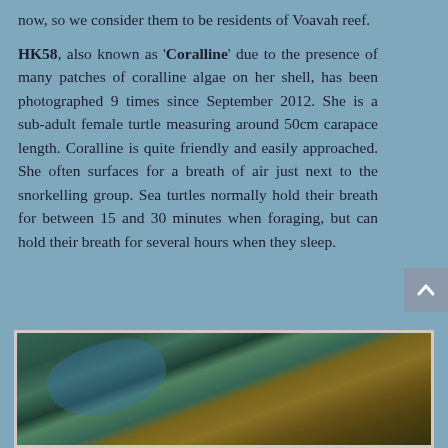now, so we consider them to be residents of Voavah reef.
HK58, also known as 'Coralline' due to the presence of many patches of coralline algae on her shell, has been photographed 9 times since September 2012. She is a sub-adult female turtle measuring around 50cm carapace length. Coralline is quite friendly and easily approached. She often surfaces for a breath of air just next to the snorkelling group. Sea turtles normally hold their breath for between 15 and 30 minutes when foraging, but can hold their breath for several hours when they sleep.
[Figure (photo): Underwater photograph of a sea turtle swimming over a coral reef with coralline algae and other marine life visible.]